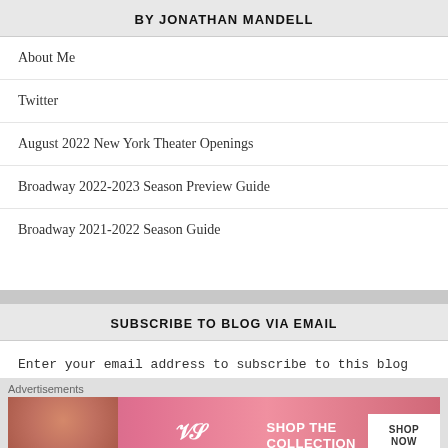BY JONATHAN MANDELL
About Me
Twitter
August 2022 New York Theater Openings
Broadway 2022-2023 Season Preview Guide
Broadway 2021-2022 Season Guide
SUBSCRIBE TO BLOG VIA EMAIL
Enter your email address to subscribe to this blog and receive notifications of new posts by email.
Email Address
Advertisements
[Figure (photo): Victoria's Secret advertisement banner with a woman's face on the left, VS logo in center, and SHOP THE COLLECTION / SHOP NOW text on the right]